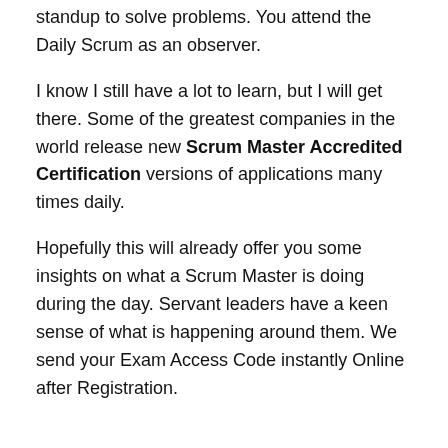standup to solve problems. You attend the Daily Scrum as an observer.
I know I still have a lot to learn, but I will get there. Some of the greatest companies in the world release new Scrum Master Accredited Certification versions of applications many times daily.
Hopefully this will already offer you some insights on what a Scrum Master is doing during the day. Servant leaders have a keen sense of what is happening around them. We send your Exam Access Code instantly Online after Registration.